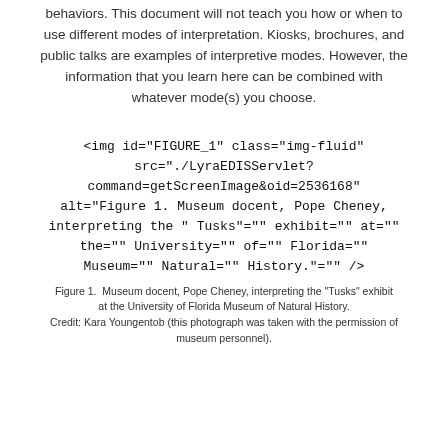behaviors. This document will not teach you how or when to use different modes of interpretation. Kiosks, brochures, and public talks are examples of interpretive modes. However, the information that you learn here can be combined with whatever mode(s) you choose.
[Figure (other): Placeholder image tag shown as raw HTML code: <img id="FIGURE_1" class="img-fluid" src="./LyraEDISServlet?command=getScreenImage&oid=2536168" alt="Figure 1. Museum docent, Pope Cheney, interpreting the 'Tusks' exhibit at the University of Florida Museum of Natural History." />]
Figure 1.  Museum docent, Pope Cheney, interpreting the "Tusks" exhibit at the University of Florida Museum of Natural History.
Credit: Kara Youngentob (this photograph was taken with the permission of museum personnel).